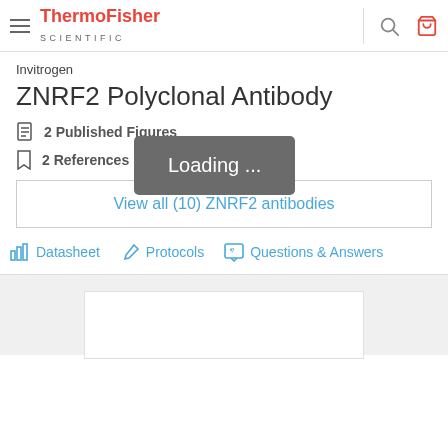ThermoFisher SCIENTIFIC — navigation bar with search and cart icons
Invitrogen
ZNRF2 Polyclonal Antibody
2 Published Figures
2 References
[Figure (screenshot): Loading... overlay tooltip in dark gray]
View all (10) ZNRF2 antibodies
Datasheet   Protocols   Questions & Answers
[Figure (other): White product card placeholder at bottom]